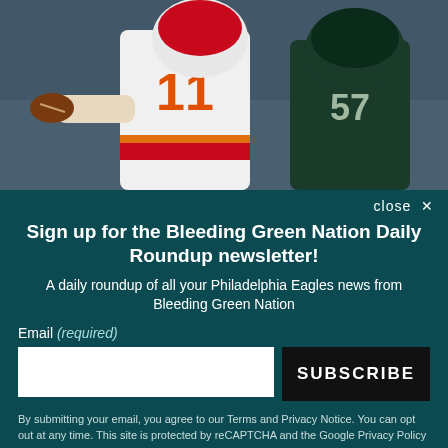[Figure (photo): NFL football game action photo: Kansas City Chiefs quarterback #11 in white uniform throwing a pass while being pressured by Philadelphia Eagles defender #57 in dark green uniform]
close ×
Sign up for the Bleeding Green Nation Daily Roundup newsletter!
A daily roundup of all your Philadelphia Eagles news from Bleeding Green Nation
Email (required)
SUBSCRIBE
By submitting your email, you agree to our Terms and Privacy Notice. You can opt out at any time. This site is protected by reCAPTCHA and the Google Privacy Policy and Terms of Service apply.